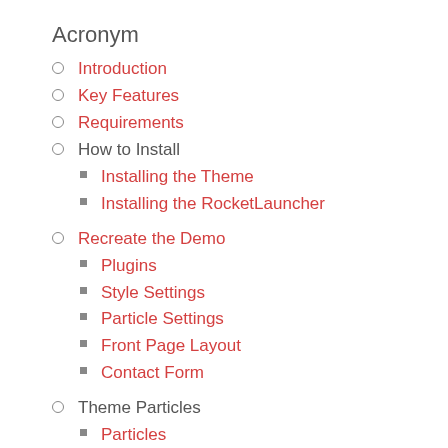Acronym
Introduction
Key Features
Requirements
How to Install
Installing the Theme
Installing the RocketLauncher
Recreate the Demo
Plugins
Style Settings
Particle Settings
Front Page Layout
Contact Form
Theme Particles
Particles
Headerlicious